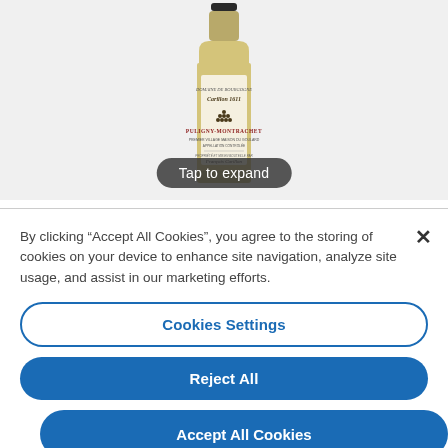[Figure (photo): Wine bottle with label reading 'Domaine Carillon 1611 Puligny-Montrachet, François Carillon' with a 'Tap to expand' overlay button]
By clicking "Accept All Cookies", you agree to the storing of cookies on your device to enhance site navigation, analyze site usage, and assist in our marketing efforts.
Cookies Settings
Reject All
Accept All Cookies